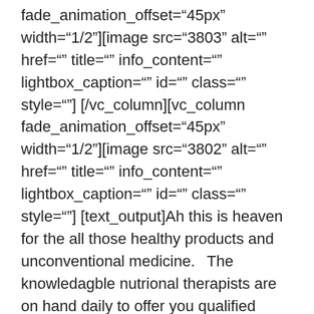fade_animation_offset="45px" width="1/2"][image src="3803" alt="" href="" title="" info_content="" lightbox_caption="" id="" class="" style=""] [/vc_column][vc_column fade_animation_offset="45px" width="1/2"][image src="3802" alt="" href="" title="" info_content="" lightbox_caption="" id="" class="" style=""] [text_output]Ah this is heaven for the all those healthy products and unconventional medicine.  The knowledagble nutrional therapists are on hand daily to offer you qualified advice.  We love their selection of healthy snacks, organic raisins, chia seeds, probiotics and regularly take Wellness Formula (a herbal defence complex) and Imuno-Strength (elderflower, rosehip and blackcurrant concentrate), which is rather yummy.[/text_output][/vc_column]